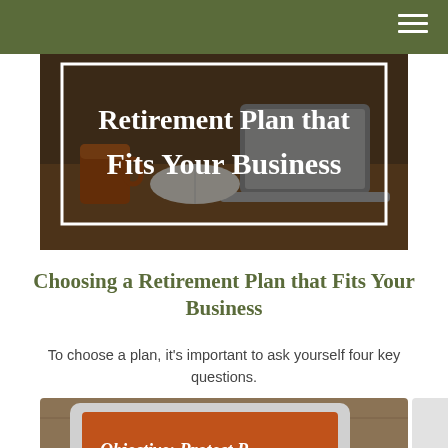[Figure (photo): Hero image showing a workspace with a laptop, coffee mug, and open book on a wooden desk. Overlaid white text reads 'Retirement Plan that Fits Your Business' in a serif font with a white rectangular border outline.]
Choosing a Retirement Plan that Fits Your Business
To choose a plan, it's important to ask yourself four key questions.
[Figure (photo): Photo of a tablet on a wooden surface showing an orange screen with italic text 'Objective: Protect P...' partially visible.]